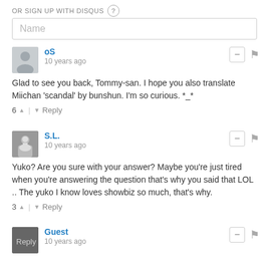OR SIGN UP WITH DISQUS ?
Name
oS
10 years ago
Glad to see you back, Tommy-san. I hope you also translate Miichan 'scandal' by bunshun. I'm so curious. *_*
6 ^ | v Reply
S.L.
10 years ago
Yuko? Are you sure with your answer? Maybe you're just tired when you're answering the question that's why you said that LOL .. The yuko I know loves showbiz so much, that's why.
3 ^ | v Reply
Guest
10 years ago